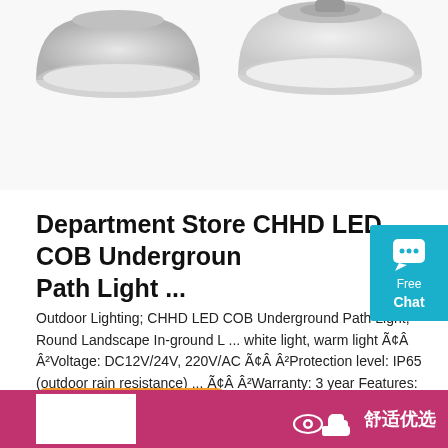[Figure (photo): Two silver/white industrial LED high bay lamp shades viewed from below on white background]
Department Store CHHD LED COB Underground Path Light ...
Outdoor Lighting; CHHD LED COB Underground Path Light, Round Landscape In-ground L ... white light, warm light Ã¢Â Â²Voltage: DC12V/24V, 220V/AC Ã¢Â Â²Protection level: IP65 (outdoor rain resistance) ... Ã¢Â Â²Warranty: 3 year Features: High quality material, Anti-corrosion and durable, good bearing capacity. Adopt tempering ...
[Figure (other): Orange 'Get Price' button]
[Figure (other): Purple/pink bottom banner with Chinese text 舒适优选 and icons]